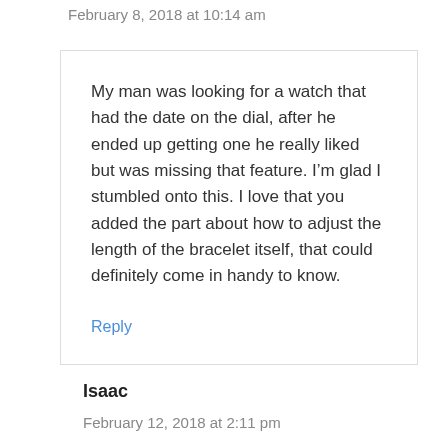February 8, 2018 at 10:14 am
My man was looking for a watch that had the date on the dial, after he ended up getting one he really liked but was missing that feature. I’m glad I stumbled onto this. I love that you added the part about how to adjust the length of the bracelet itself, that could definitely come in handy to know.
Reply
Isaac
February 12, 2018 at 2:11 pm